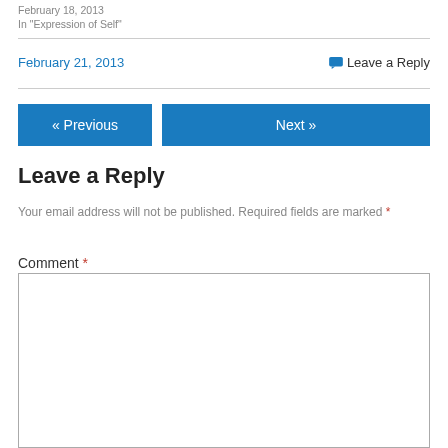February 18, 2013
In "Expression of Self"
February 21, 2013
💬 Leave a Reply
« Previous
Next »
Leave a Reply
Your email address will not be published. Required fields are marked *
Comment *